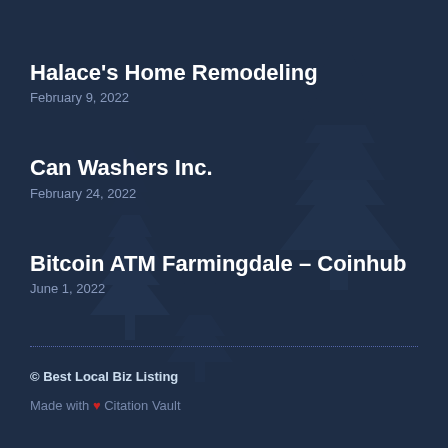Halace's Home Remodeling
February 9, 2022
Can Washers Inc.
February 24, 2022
Bitcoin ATM Farmingdale – Coinhub
June 1, 2022
© Best Local Biz Listing
Made with ❤ Citation Vault